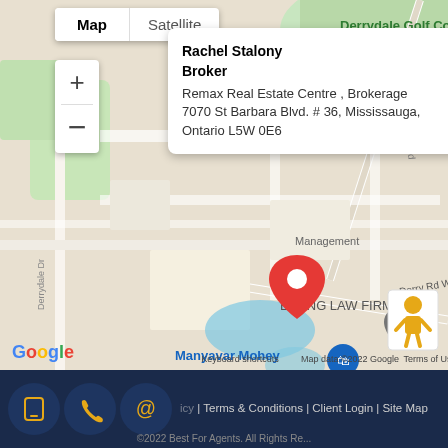[Figure (map): Google Maps screenshot showing the location of Rachel Stalony Broker at Remax Real Estate Centre, Brokerage, 7070 St Barbara Blvd. #36, Mississauga, Ontario L5W 0E6. Map shows nearby landmarks: Derrydale Golf Course, BHANGOO LAW FIRM, Manyavar Mohey, GuruLukshmi, Courtyard by Marriott Toronto, The Hakka Club - Saint Barbara Blvd. Roads shown include Derry Rd and Derry Rd W. Red pin marks the office location.]
Rachel Stalony Broker
Remax Real Estate Centre , Brokerage
7070 St Barbara Blvd. # 36, Mississauga, Ontario L5W 0E6
Privacy Policy | Terms & Conditions | Client Login | Site Map
©2022 Best For Agents. All Rights Reserved.